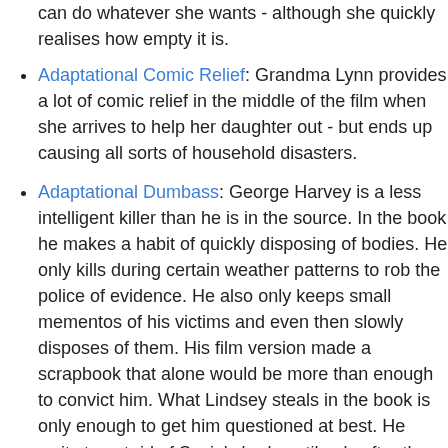can do whatever she wants - although she quickly realises how empty it is.
Adaptational Comic Relief: Grandma Lynn provides a lot of comic relief in the middle of the film when she arrives to help her daughter out - but ends up causing all sorts of household disasters.
Adaptational Dumbass: George Harvey is a less intelligent killer than he is in the source. In the book he makes a habit of quickly disposing of bodies. He only kills during certain weather patterns to rob the police of evidence. He also only keeps small mementos of his victims and even then slowly disposes of them. His film version made a scrapbook that alone would be more than enough to convict him. What Lindsey steals in the book is only enough to get him questioned at best. He waits to get rid of Susie's body until only after the cops are out to arrest him.
Adaptational Heroism: